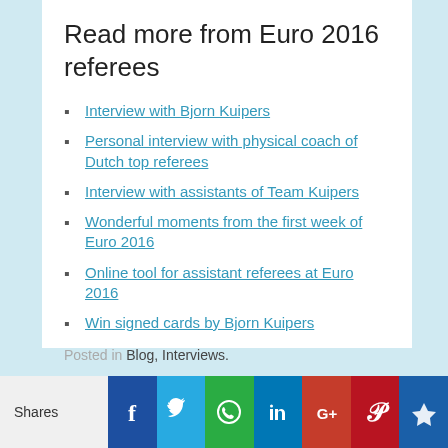Read more from Euro 2016 referees
Interview with Bjorn Kuipers
Personal interview with physical coach of Dutch top referees
Interview with assistants of Team Kuipers
Wonderful moments from the first week of Euro 2016
Online tool for assistant referees at Euro 2016
Win signed cards by Bjorn Kuipers
Posted in Blog, Interviews.
← Week 10 Laws of the Game Quiz 2019-2020
Tic-tac-toe exercise for referees →